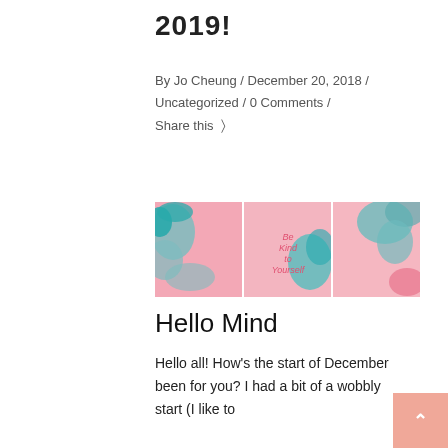2019!
By Jo Cheung / December 20, 2018 / Uncategorized / 0 Comments / Share this
[Figure (illustration): A triptych of abstract watercolor art panels with pink and teal brushstrokes. The center panel has text reading 'Be Kind to Yourself'.]
Hello Mind
Hello all! How's the start of December been for you? I had a bit of a wobbly start (I like to